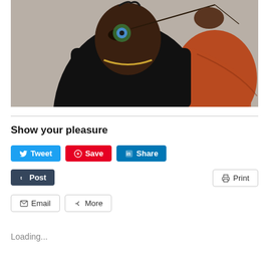[Figure (photo): Fashion photo of a dark-skinned woman in a black top and orange sleeve, holding a peacock feather over one eye, looking directly at the camera against a grey background.]
Show your pleasure
Tweet | Save | Share | Post | Print | Email | More
Loading...